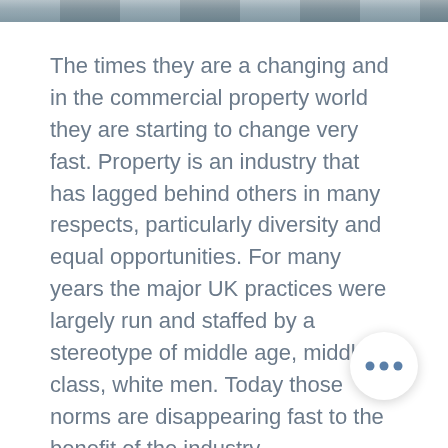[Figure (photo): Partial photograph visible at the top of the page as a narrow strip]
The times they are a changing and in the commercial property world they are starting to change very fast. Property is an industry that has lagged behind others in many respects, particularly diversity and equal opportunities. For many years the major UK practices were largely run and staffed by a stereotype of middle age, middle class, white men. Today those norms are disappearing fast to the benefit of the industry.
At my company, we now have female leaders in a number of our divisions and offices. Our planning and development, property management